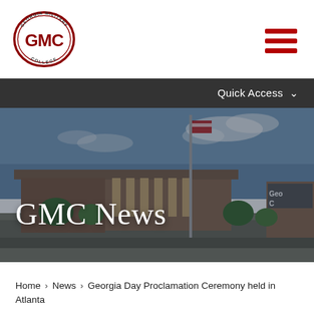[Figure (logo): Georgia Military College (GMC) oval logo with red border and GMC text in red]
[Figure (illustration): Three horizontal red hamburger menu lines icon]
Quick Access ∨
[Figure (photo): Hero photograph of Georgia Military College campus building with blue sky, flagpole, brick buildings, and a Georgia Military College sign partially visible on right. Overlaid with dark tint.]
GMC News
Home > News > Georgia Day Proclamation Ceremony held in Atlanta